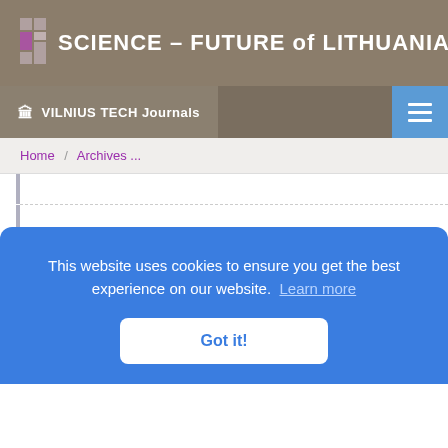SCIENCE – FUTURE of LITHUANIA
VILNIUS TECH Journals
Home / Archives ...
Modern solutions of timber constructions and their adjustment possibilities in
This website uses cookies to ensure you get the best experience on our website. Learn more
Got it!